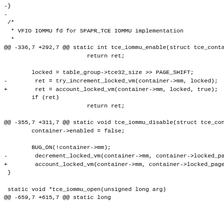Unified diff showing changes to VFIO IOMMU SPAPR TCE implementation replacing try_increment_locked_vm and decrement_locked_vm with account_locked_vm calls.